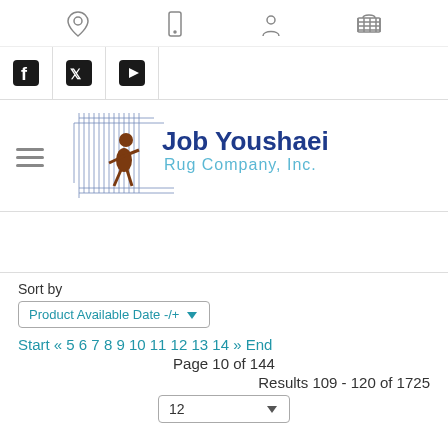[Figure (screenshot): Top navigation icon bar with location pin, mobile phone, user profile, and shopping cart icons]
[Figure (screenshot): Social media buttons bar with Facebook, Twitter, and YouTube icons]
[Figure (logo): Job Youshaei Rug Company, Inc. logo with rug weaver illustration]
Sort by
Product Available Date -/+
Start « 5 6 7 8 9 10 11 12 13 14 » End
Page 10 of 144
Results 109 - 120 of 1725
12